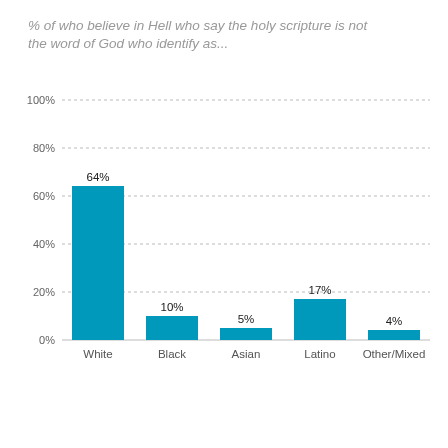[Figure (bar-chart): % of who believe in Hell who say the holy scripture is not the word of God who identify as...]